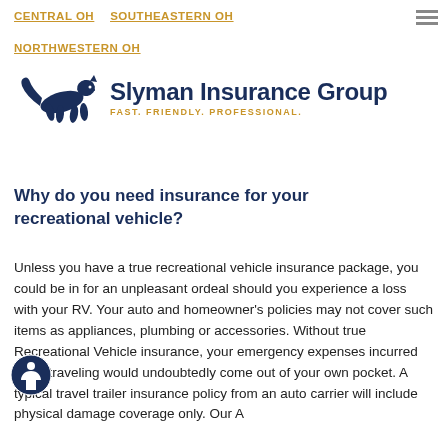CENTRAL OH   SOUTHEASTERN OH   NORTHWESTERN OH
[Figure (logo): Slyman Insurance Group logo with leaping panther silhouette and tagline FAST. FRIENDLY. PROFESSIONAL.]
Why do you need insurance for your recreational vehicle?
Unless you have a true recreational vehicle insurance package, you could be in for an unpleasant ordeal should you experience a loss with your RV. Your auto and homeowner's policies may not cover such items as appliances, plumbing or accessories. Without true Recreational Vehicle insurance, your emergency expenses incurred while traveling would undoubtedly come out of your own pocket. A typical travel trailer insurance policy from an auto carrier will include physical damage coverage only. Our A